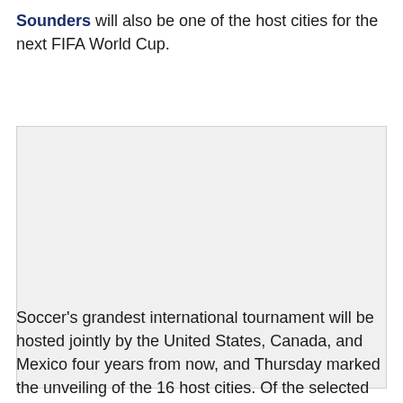Sounders will also be one of the host cities for the next FIFA World Cup.
[Figure (photo): Image placeholder - photo related to FIFA World Cup or Seattle Sounders]
Soccer's grandest international tournament will be hosted jointly by the United States, Canada, and Mexico four years from now, and Thursday marked the unveiling of the 16 host cities. Of the selected cities, 11